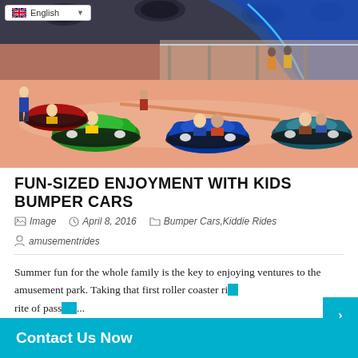[Figure (photo): Indoor bumper cars arena on a cruise ship or amusement park, showing colorful bumper cars (green, red, blue) with riders on a shiny pink/orange floor, modern interior with overhead lighting and balconies above.]
FUN-SIZED ENJOYMENT WITH KIDS BUMPER CARS
Image   April 8, 2016   Bumper Cars, Kiddie Rides   amusementrides
Summer fun for the whole family is the key to enjoying ventures to the amusement park. Taking that first roller coaster ride is a rite of pass ... aware of th...
Contact Us Now